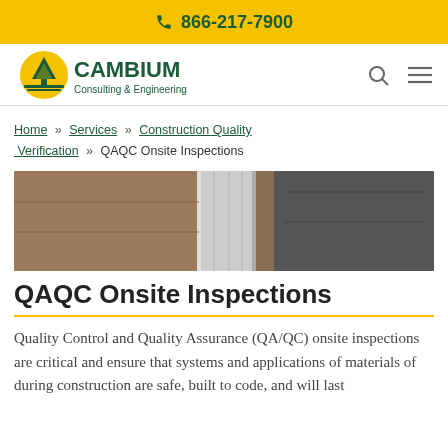866-217-7900
[Figure (logo): Cambium Consulting & Engineering logo with pine tree and yellow sun graphic]
Home » Services » Construction Quality Verification » QAQC Onsite Inspections
[Figure (photo): Close-up photo of soil and concrete construction materials during excavation or site inspection]
QAQC Onsite Inspections
Quality Control and Quality Assurance (QA/QC) onsite inspections are critical and ensure that systems and applications of materials of during construction are safe, built to code, and will last